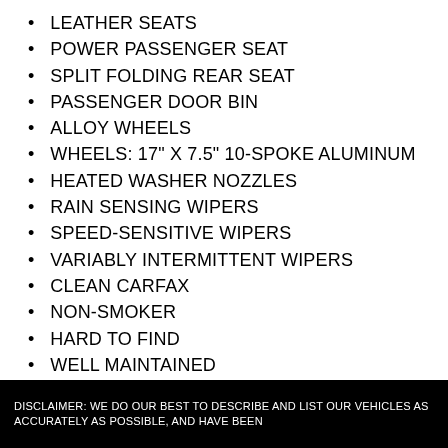LEATHER SEATS
POWER PASSENGER SEAT
SPLIT FOLDING REAR SEAT
PASSENGER DOOR BIN
ALLOY WHEELS
WHEELS: 17" X 7.5" 10-SPOKE ALUMINUM
HEATED WASHER NOZZLES
RAIN SENSING WIPERS
SPEED-SENSITIVE WIPERS
VARIABLY INTERMITTENT WIPERS
CLEAN CARFAX
NON-SMOKER
HARD TO FIND
WELL MAINTAINED
RECENTLY SERVICED
DISCLAIMER: WE DO OUR BEST TO DESCRIBE AND LIST OUR VEHICLES AS ACCURATELY AS POSSIBLE, AND HAVE BEEN